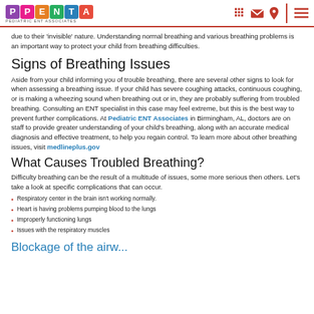Pediatric ENT Associates header with logo and navigation icons
due to their 'invisible' nature. Understanding normal breathing and various breathing problems is an important way to protect your child from breathing difficulties.
Signs of Breathing Issues
Aside from your child informing you of trouble breathing, there are several other signs to look for when assessing a breathing issue. If your child has severe coughing attacks, continuous coughing, or is making a wheezing sound when breathing out or in, they are probably suffering from troubled breathing. Consulting an ENT specialist in this case may feel extreme, but this is the best way to prevent further complications. At Pediatric ENT Associates in Birmingham, AL, doctors are on staff to provide greater understanding of your child's breathing, along with an accurate medical diagnosis and effective treatment, to help you regain control. To learn more about other breathing issues, visit medlineplus.gov
What Causes Troubled Breathing?
Difficulty breathing can be the result of a multitude of issues, some more serious then others. Let's take a look at specific complications that can occur.
Respiratory center in the brain isn't working normally.
Heart is having problems pumping blood to the lungs
Improperly functioning lungs
Issues with the respiratory muscles
Blockage of the airways...